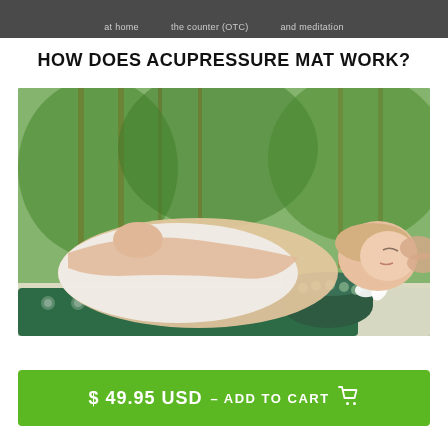at home   the counter (OTC)   and meditation
HOW DOES ACUPRESSURE MAT WORK?
[Figure (photo): Woman lying on a dark green acupressure mat and neck pillow with white spikes, receiving a head massage, with a white flower and lush green outdoor background]
$ 49.95 USD – ADD TO CART 🛒